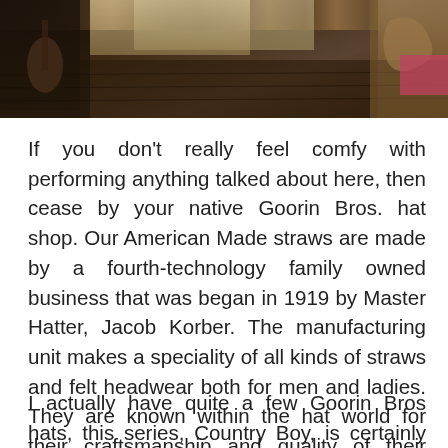[Figure (photo): Interior photograph of what appears to be a rustic shop or store with dark hardwood floors, musical instruments (guitars) visible on the left side, and wooden decor items on the right side. The space has warm brown tones throughout.]
If you don't really feel comfy with performing anything talked about here, then cease by your native Goorin Bros. hat shop. Our American Made straws are made by a fourth-technology family owned business that was began in 1919 by Master Hatter, Jacob Korber. The manufacturing unit makes a speciality of all kinds of straws and felt headwear both for men and ladies. They are known within the hat world for their craftsmanship and quality of their Panama straw hats.
I actually have quite a few Goorin Bros hats, this series, Country Boy, is certainly one of my faves. Great fit, nice